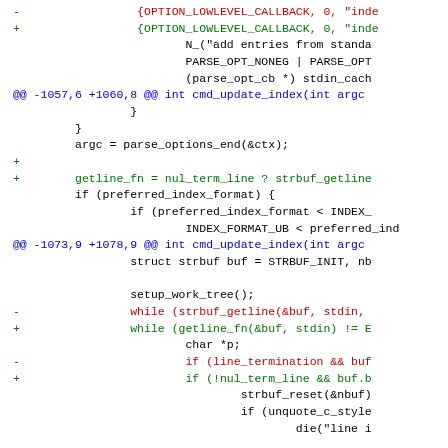[Figure (other): A unified diff / patch code block showing changes to a C source file (update-index.c and compat/terminal.c), with red lines for removals, green lines for additions, blue for hunk headers, and black for context lines.]